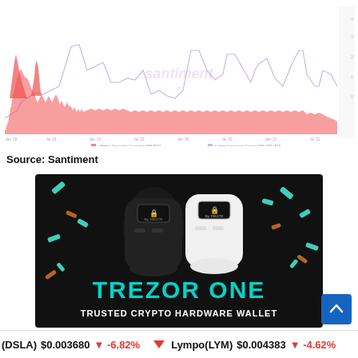[Figure (continuous-plot): Santiment chart showing transaction count over time (pink/red area) and transaction count in USD (lavender step line). Time axis spans from early dates to recent, with watermark 'santiment' in center. Y-axis on right side. Legend at bottom reads: 'n Median Transaction Count (min 500k BTC)' and 'at where Transaction Count in 500k USD (JOJ)']
Source: Santiment
[Figure (photo): Trezor One hardware wallet advertisement showing two Trezor One devices (black and white versions) against a black background with colorful confetti shapes. Text reads 'TREZOR ONE' in large cyan letters and 'TRUSTED CRYPTO HARDWARE WALLET' in white below.]
(DSLA) $0.003680 ↓ -6.82%   Lympo(LYM) $0.004383 ↓ -4.62%